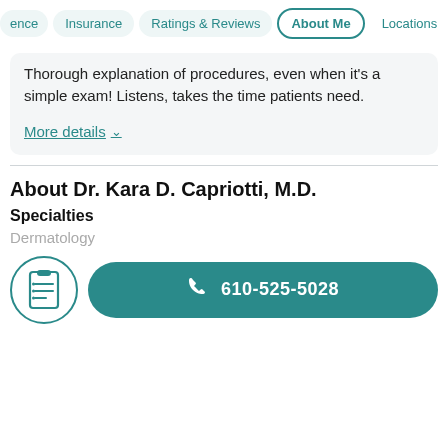ence  Insurance  Ratings & Reviews  About Me  Locations
Thorough explanation of procedures, even when it's a simple exam! Listens, takes the time patients need.
More details
About Dr. Kara D. Capriotti, M.D.
Specialties
Dermatology
610-525-5028